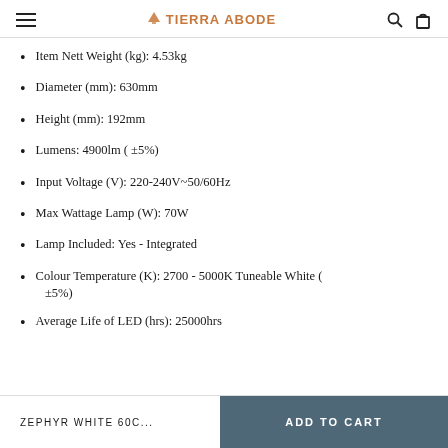TIERRA ABODE
Item Nett Weight (kg): 4.53kg
Diameter (mm): 630mm
Height (mm): 192mm
Lumens: 4900lm ( ±5%)
Input Voltage (V): 220-240V~50/60Hz
Max Wattage Lamp (W): 70W
Lamp Included: Yes - Integrated
Colour Temperature (K): 2700 - 5000K Tuneable White ( ±5%)
Average Life of LED (hrs): 25000hrs
ZEPHYR WHITE 60C...   ADD TO CART